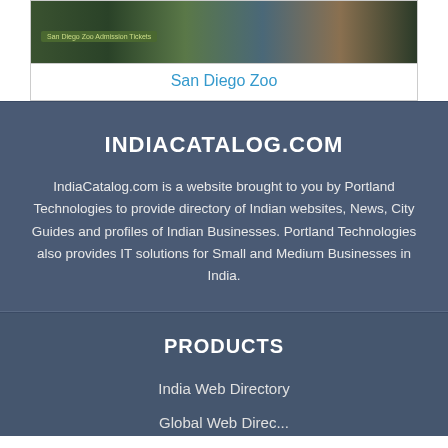[Figure (photo): Photo of San Diego Zoo entrance/exhibit area with signage and tropical plants]
San Diego Zoo
INDIACATALOG.COM
IndiaCatalog.com is a website brought to you by Portland Technologies to provide directory of Indian websites, News, City Guides and profiles of Indian Businesses. Portland Technologies also provides IT solutions for Small and Medium Businesses in India.
PRODUCTS
India Web Directory
Global Web Direc...